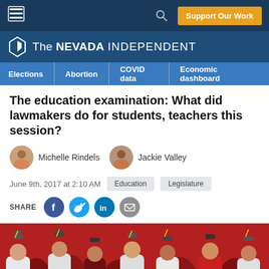The Nevada Independent — Support Our Work
The education examination: What did lawmakers do for students, teachers this session?
Michelle Rindels   Jackie Valley
June 9th, 2017 at 2:10 AM   Education   Legislature
SHARE
[Figure (photo): Graduation ceremony photo showing students in caps and gowns seated against a red background]